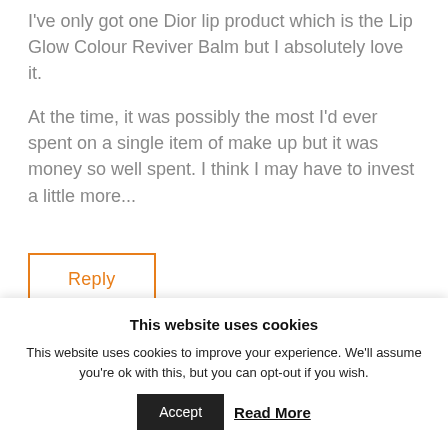I've only got one Dior lip product which is the Lip Glow Colour Reviver Balm but I absolutely love it.
At the time, it was possibly the most I'd ever spent on a single item of make up but it was money so well spent. I think I may have to invest a little more...
Reply
Michelle (LipstickRules) says:
This website uses cookies
This website uses cookies to improve your experience. We'll assume you're ok with this, but you can opt-out if you wish.
Accept
Read More